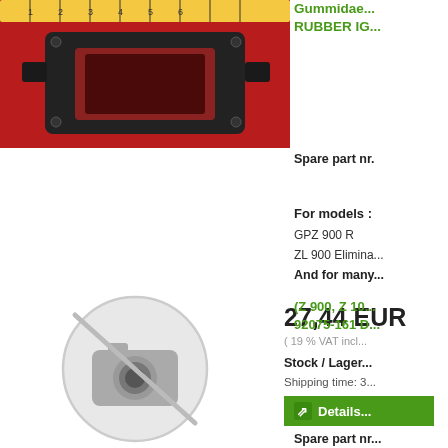[Figure (photo): Photo of a rubber part (instrument cluster eyepiece/grommet) on a red background with a measuring tape visible at top]
Gummidae... RUBBER IG...
Spare part nr.
For models : GPZ 900 R
ZL 900 Elimina...
And for many...
27,44 EUR
( 19 % VAT incl...
Stock / Lager...
Shipping time: 3...
[Figure (photo): No image available placeholder icon (camera with slash, grey circle)]
(Z 900, Z 10... 92075-161 D...
Spare part nr...